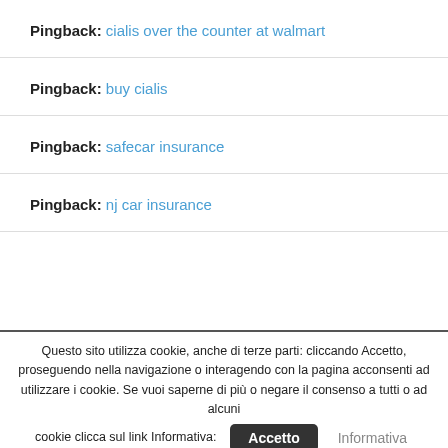Pingback: cialis over the counter at walmart
Pingback: buy cialis
Pingback: safecar insurance
Pingback: nj car insurance
Questo sito utilizza cookie, anche di terze parti: cliccando Accetto, proseguendo nella navigazione o interagendo con la pagina acconsenti ad utilizzare i cookie. Se vuoi saperne di più o negare il consenso a tutti o ad alcuni cookie clicca sul link Informativa: Accetto Informativa